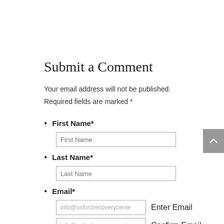Submit a Comment
Your email address will not be published.
Required fields are marked *
First Name*
Last Name*
Email*
Question or Comment*